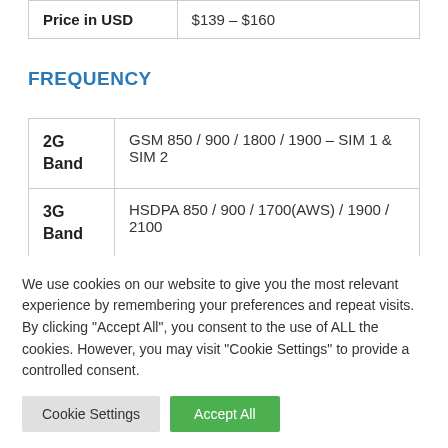| Price in USD | $139 – $160 |
FREQUENCY
| 2G Band | GSM 850 / 900 / 1800 / 1900 – SIM 1 & SIM 2 |
| 3G Band | HSDPA 850 / 900 / 1700(AWS) / 1900 / 2100 |
We use cookies on our website to give you the most relevant experience by remembering your preferences and repeat visits. By clicking "Accept All", you consent to the use of ALL the cookies. However, you may visit "Cookie Settings" to provide a controlled consent.